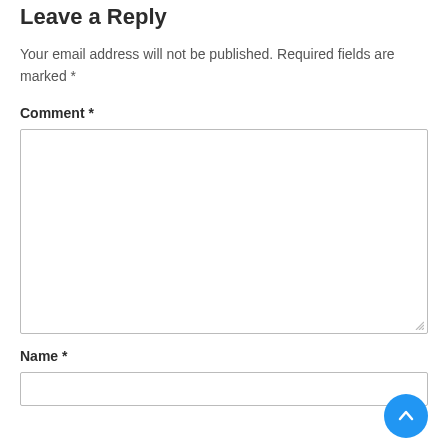Leave a Reply
Your email address will not be published. Required fields are marked *
Comment *
[Figure (other): Large empty comment text area input box with resize handle]
Name *
[Figure (other): Single-line name text input box]
[Figure (other): Blue circular scroll-to-top button with upward chevron arrow]